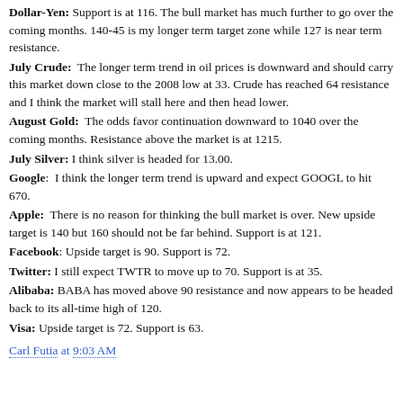Dollar-Yen: Support is at 116. The bull market has much further to go over the coming months. 140-45 is my longer term target zone while 127 is near term resistance.
July Crude: The longer term trend in oil prices is downward and should carry this market down close to the 2008 low at 33. Crude has reached 64 resistance and I think the market will stall here and then head lower.
August Gold: The odds favor continuation downward to 1040 over the coming months. Resistance above the market is at 1215.
July Silver: I think silver is headed for 13.00.
Google: I think the longer term trend is upward and expect GOOGL to hit 670.
Apple: There is no reason for thinking the bull market is over. New upside target is 140 but 160 should not be far behind. Support is at 121.
Facebook: Upside target is 90. Support is 72.
Twitter: I still expect TWTR to move up to 70. Support is at 35.
Alibaba: BABA has moved above 90 resistance and now appears to be headed back to its all-time high of 120.
Visa: Upside target is 72. Support is 63.
Carl Futia at 9:03 AM